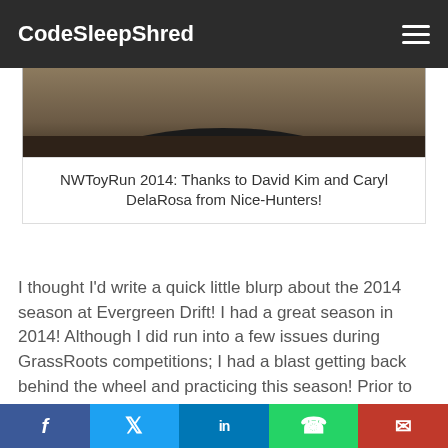CodeSleepShred
[Figure (photo): Partial view of a car at a drift event, dark/moody tones]
NWToyRun 2014: Thanks to David Kim and Caryl DelaRosa from Nice-Hunters!
I thought I'd write a quick little blurp about the 2014 season at Evergreen Drift! I had a great season in 2014! Although I did run into a few issues during GrassRoots competitions; I had a blast getting back behind the wheel and practicing this season! Prior to this season, I did take a 3 year break from drifting but I'm back and hope to compete more in 2015!
I'd really like to thank my partner in crime Kayla Whidden, Justin Nigro at Always Reckless, Nicolas Jacober @ NJacoberPhotography, Matt Nelson @ I-
f  t  in  ✆  ✉